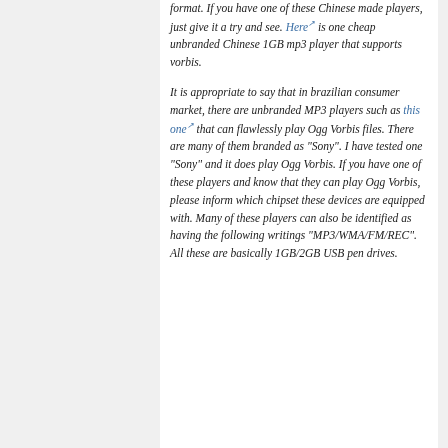format. If you have one of these Chinese made players, just give it a try and see. Here is one cheap unbranded Chinese 1GB mp3 player that supports vorbis.
It is appropriate to say that in brazilian consumer market, there are unbranded MP3 players such as this one that can flawlessly play Ogg Vorbis files. There are many of them branded as "Sony". I have tested one "Sony" and it does play Ogg Vorbis. If you have one of these players and know that they can play Ogg Vorbis, please inform which chipset these devices are equipped with. Many of these players can also be identified as having the following writings "MP3/WMA/FM/REC". All these are basically 1GB/2GB USB pen drives.